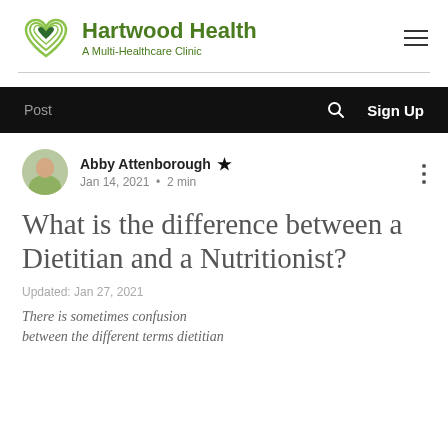Hartwood Health — A Multi-Healthcare Clinic
Post | Sign Up
[Figure (photo): Author avatar photo of Abby Attenborough]
Abby Attenborough · Jan 14, 2021 · 2 min
What is the difference between a Dietitian and a Nutritionist?
Updated: Jan 27, 2021
There is sometimes confusion between the different terms dietitian...